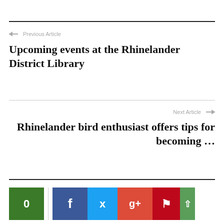← Previous Article
Upcoming events at the Rhinelander District Library
Next Article →
Rhinelander bird enthusiast offers tips for becoming ...
[Figure (infographic): Social sharing buttons: green share count (0), Facebook (f), Twitter (bird), Google+ (g+), Pinterest (p), up arrow]